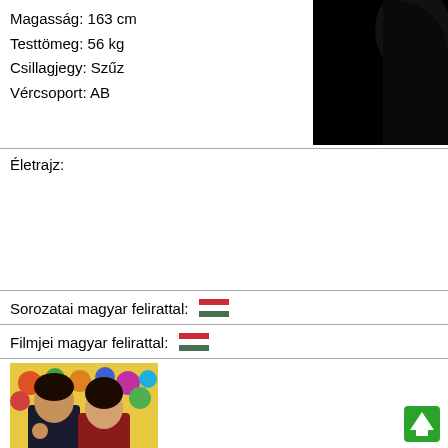Magasság: 163 cm
Testtömeg: 56 kg
Csillagjegy: Szűz
Vércsoport: AB
[Figure (photo): Black silhouette/photo of a person against dark background]
Életrajz:
Sorozatai magyar felirattal: 🇭🇺
Filmjei magyar felirattal: 🇭🇺
[Figure (photo): Movie/TV show promotional image with two Asian people and colorful background]
[Figure (other): Green upward arrow button]